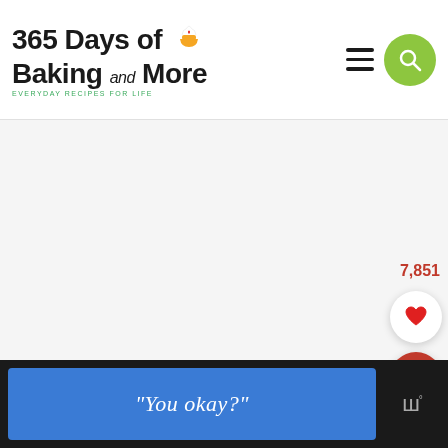365 Days of Baking and More — EVERYDAY RECIPES FOR LIFE
[Figure (screenshot): Large white/light gray content area placeholder in the main body of the webpage]
7,851
[Figure (other): Heart (favorite/like) button — white circle with red heart icon]
[Figure (other): Search button — red circle with white magnifying glass icon]
[Figure (other): Footer advertisement banner: blue rectangle with italic text 'You okay?' and a Wealthsimple logo on the right]